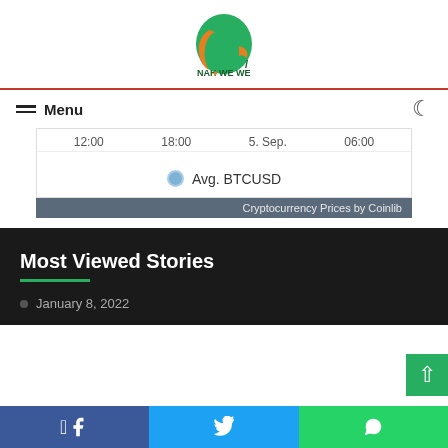[Figure (logo): NAH WE WE logo with Africa map in green and orange]
≡ Menu
[Figure (continuous-plot): Cryptocurrency price chart showing time axis with labels 12:00, 18:00, 5. Sep., 06:00 and legend 'Avg. BTCUSD']
Cryptocurrency Prices by Coinlib
Most Viewed Stories
January 8, 2022